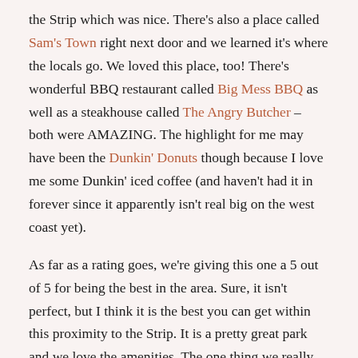the Strip which was nice. There's also a place called Sam's Town right next door and we learned it's where the locals go. We loved this place, too! There's wonderful BBQ restaurant called Big Mess BBQ as well as a steakhouse called The Angry Butcher – both were AMAZING. The highlight for me may have been the Dunkin' Donuts though because I love me some Dunkin' iced coffee (and haven't had it in forever since it apparently isn't real big on the west coast yet).
As far as a rating goes, we're giving this one a 5 out of 5 for being the best in the area. Sure, it isn't perfect, but I think it is the best you can get within this proximity to the Strip. It is a pretty great park and we love the amenities. The one thing we really wish it had was some grass for the dogs, but I'll talk about that next.